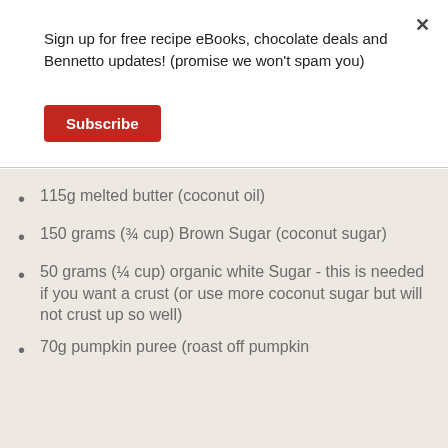Sign up for free recipe eBooks, chocolate deals and Bennetto updates! (promise we won't spam you)
Subscribe
115g melted butter (coconut oil)
150 grams (¾ cup) Brown Sugar (coconut sugar)
50 grams (¼ cup) organic white Sugar - this is needed if you want a crust (or use more coconut sugar but will not crust up so well)
70g pumpkin puree (roast off pumpkin